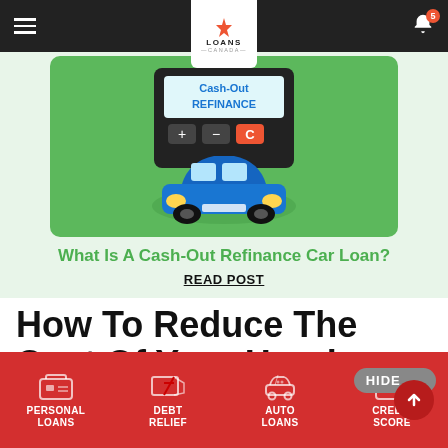Loans Canada navigation bar
[Figure (illustration): Illustration of a blue car in front of a dark calculator-like device showing 'Cash-Out REFINANCE' on a green background]
What Is A Cash-Out Refinance Car Loan?
READ POST
How To Reduce The Cost Of Your Honda
PERSONAL LOANS | DEBT RELIEF | AUTO LOANS | CREDIT SCORE